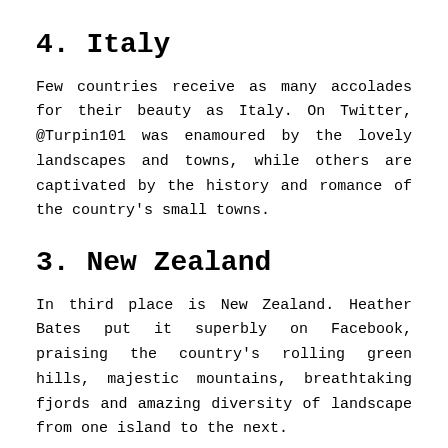4. Italy
Few countries receive as many accolades for their beauty as Italy. On Twitter, @Turpin101 was enamoured by the lovely landscapes and towns, while others are captivated by the history and romance of the country's small towns.
3. New Zealand
In third place is New Zealand. Heather Bates put it superbly on Facebook, praising the country's rolling green hills, majestic mountains, breathtaking fjords and amazing diversity of landscape from one island to the next.
2. Canada
In a close call for second place is Canada: home of lumberjacks, beavers and maple syrup (if you believe